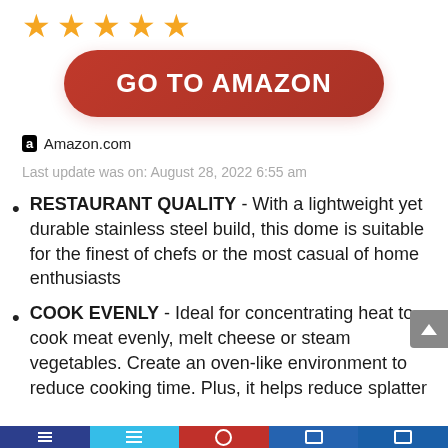[Figure (other): Five gold star rating icons in a row]
GO TO AMAZON
Amazon.com
Last update was on: August 28, 2022 6:55 am
RESTAURANT QUALITY - With a lightweight yet durable stainless steel build, this dome is suitable for the finest of chefs or the most casual of home enthusiasts
COOK EVENLY - Ideal for concentrating heat to cook meat evenly, melt cheese or steam vegetables. Create an oven-like environment to reduce cooking time. Plus, it helps reduce splatter